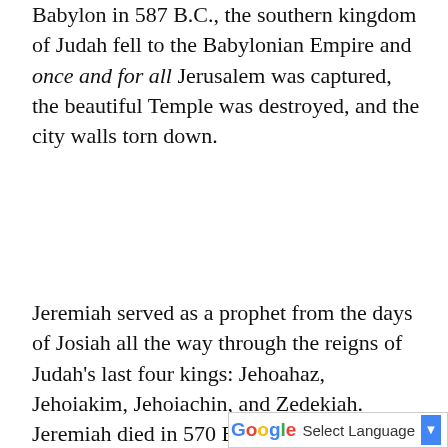Babylon in 587 B.C., the southern kingdom of Judah fell to the Babylonian Empire and once and for all Jerusalem was captured, the beautiful Temple was destroyed, and the city walls torn down.
Jeremiah served as a prophet from the days of Josiah all the way through the reigns of Judah's last four kings: Jehoahaz, Jehoiakim, Jehoiachin, and Zedekiah. Jeremiah died in 570 B.C.
He was born to a priestly family about three miles from Jerusalem, and he began preaching about repentance as a teenager. Sadly, after several years of preaching, Jeremiah's family turned against him and plotted to kill him. Over the years, he was whipped, put in the stocks, attacked by mobs, threatened by kings, and